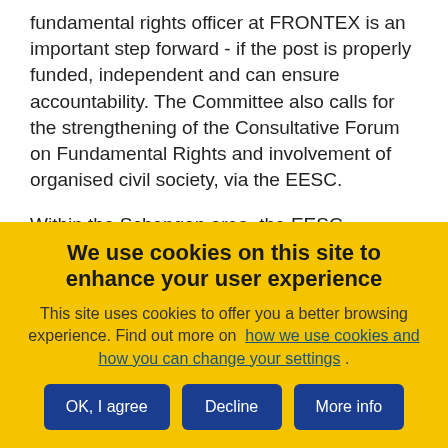fundamental rights officer at FRONTEX is an important step forward - if the post is properly funded, independent and can ensure accountability. The Committee also calls for the strengthening of the Consultative Forum on Fundamental Rights and involvement of organised civil society, via the EESC.
Within the Schengen area, the EESC welcomes Commission proposals for closer security cooperation
We use cookies on this site to enhance your user experience
This site uses cookies to offer you a better browsing experience. Find out more on how we use cookies and how you can change your settings .